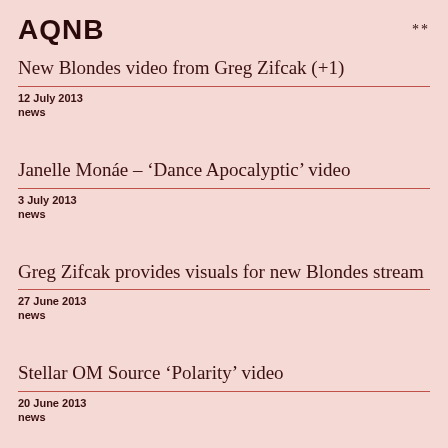AQNB
New Blondes video from Greg Zifcak (+1)
12 July 2013
news
Janelle Monáe – 'Dance Apocalyptic' video
3 July 2013
news
Greg Zifcak provides visuals for new Blondes stream
27 June 2013
news
Stellar OM Source 'Polarity' video
20 June 2013
news